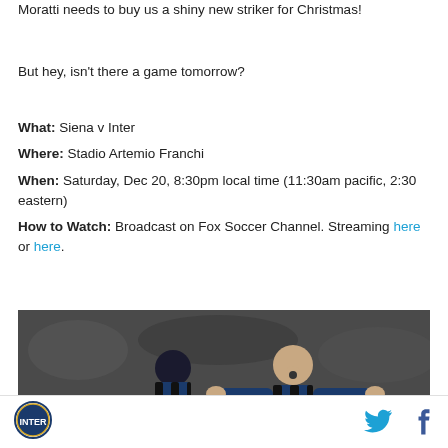Moratti needs to buy us a shiny new striker for Christmas!
But hey, isn't there a game tomorrow?
What: Siena v Inter
Where: Stadio Artemio Franchi
When: Saturday, Dec 20, 8:30pm local time (11:30am pacific, 2:30 eastern)
How to Watch: Broadcast on Fox Soccer Channel. Streaming here or here.
[Figure (photo): Two Inter Milan players celebrating on the pitch, one bald player with arms wide open wearing blue and black stripes]
Inter Milan logo icon | Twitter icon | Facebook icon